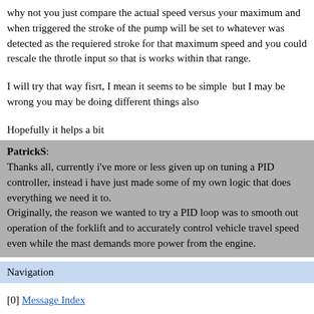why not you just compare the actual speed versus your maximum and when triggered the stroke of the pump will be set to whatever was detected as the requiered stroke for that maximum speed and you could rescale the throtle input so that is works within that range.
I will try that way fisrt, I mean it seems to be simple  but I may be wrong you may be doing different things also
Hopefully it helps a bit
PatrickS:
Thanks all, currently i've more or less given up on tuning a PID controller, instead i have just made some of my own logic that does everything we need it to.
Originally, the reason we wanted to try a PID loop was to smooth out operation of the forklift and to accurately control vehicle travel speed even while the mast demands more power from the engine.
Navigation
[0] Message Index
Go to full version